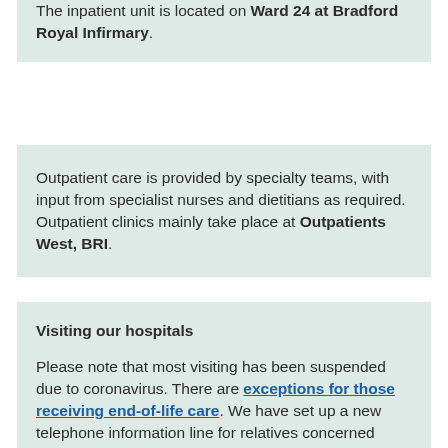The inpatient unit is located on Ward 24 at Bradford Royal Infirmary.
Outpatient care is provided by specialty teams, with input from specialist nurses and dietitians as required. Outpatient clinics mainly take place at Outpatients West, BRI.
Visiting our hospitals
Please note that most visiting has been suspended due to coronavirus. There are exceptions for those receiving end-of-life care. We have set up a new telephone information line for relatives concerned about